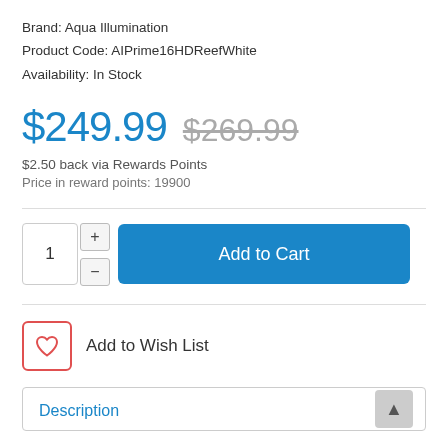Brand: Aqua Illumination
Product Code: AIPrime16HDReefWhite
Availability: In Stock
$249.99  $269.99
$2.50 back via Rewards Points
Price in reward points: 19900
1  Add to Cart
Add to Wish List
Description